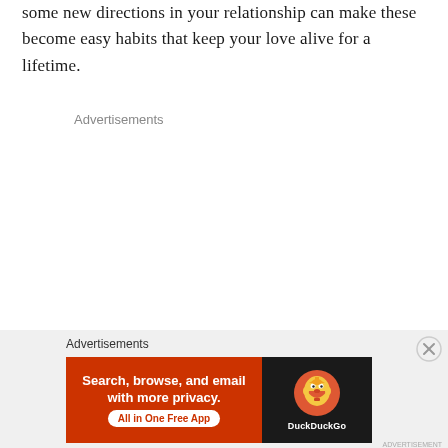some new directions in your relationship can make these become easy habits that keep your love alive for a lifetime.
Advertisements
[Figure (screenshot): DuckDuckGo advertisement banner with orange background. Left side reads 'Search, browse, and email with more privacy. All in One Free App'. Right side has black background with DuckDuckGo duck logo and 'DuckDuckGo' wordmark.]
ADVERTISEMENT